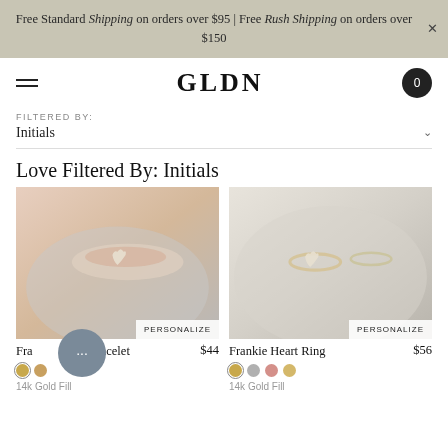Free Standard Shipping on orders over $95 | Free Rush Shipping on orders over $150
GLDN
FILTERED BY: Initials
Love Filtered By: Initials
[Figure (photo): Close-up photo of a wrist wearing a delicate bracelet with a small heart charm, resting on gray fuzzy fabric. PERSONALIZE badge at bottom right.]
[Figure (photo): Close-up photo of fingers wearing a heart ring and a thin band ring, on soft beige fabric. PERSONALIZE badge at bottom right.]
Frankie Heart Bracelet $44
14k Gold Fill
Frankie Heart Ring $56
14k Gold Fill